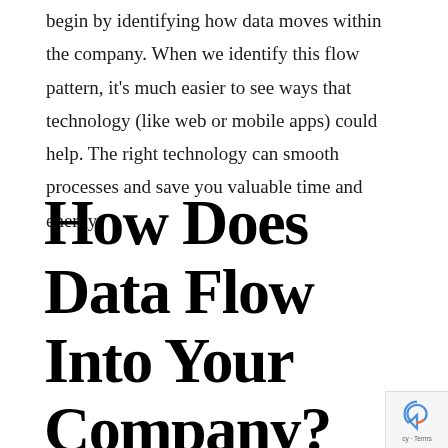begin by identifying how data moves within the company. When we identify this flow pattern, it's much easier to see ways that technology (like web or mobile apps) could help. The right technology can smooth processes and save you valuable time and energy.
How Does Data Flow Into Your Company?